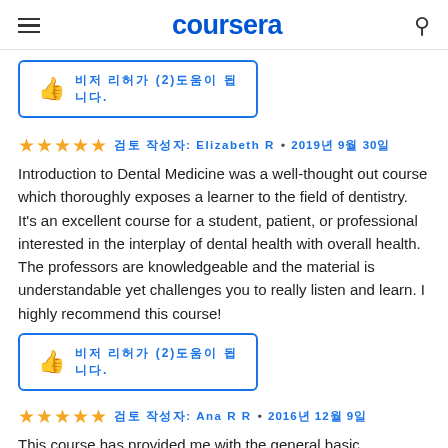coursera
이 리뷰가 (2)도움이 됩니다.
★★★★★  검토 작성자: Elizabeth R • 2019년 9월 30일
Introduction to Dental Medicine was a well-thought out course which thoroughly exposes a learner to the field of dentistry. It's an excellent course for a student, patient, or professional interested in the interplay of dental health with overall health. The professors are knowledgeable and the material is understandable yet challenges you to really listen and learn. I highly recommend this course!
이 리뷰가 (2)도움이 됩니다.
★★★★★  검토 작성자: Ana R R • 2016년 12월 9일
This course has provided me with the general basic